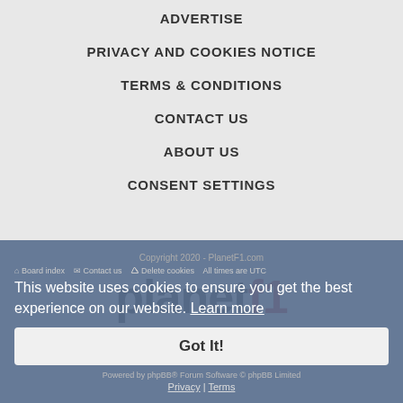ADVERTISE
PRIVACY AND COOKIES NOTICE
TERMS & CONDITIONS
CONTACT US
ABOUT US
CONSENT SETTINGS
[Figure (logo): PlanetF1 logo with 'planet' in black bold text and 'f1' in red bold text]
Copyright 2020 - PlanetF1.com
Board index   Contact us   Delete cookies   All times are UTC
Powered by phpBB® Forum Software © phpBB Limited
This website uses cookies to ensure you get the best experience on our website. Learn more
Got It!
Privacy | Terms